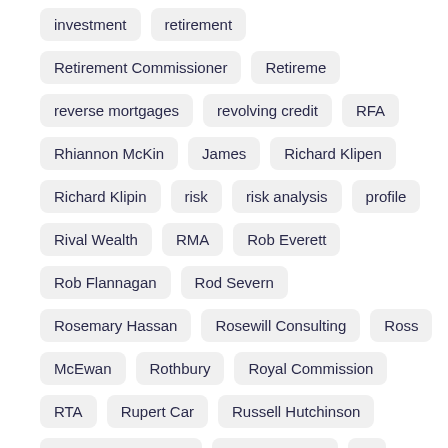investment
retirement
Retirement Commissioner
Retirement…
reverse mortgages
revolving credit
RFA
Rhiannon McKin…
James
Richard Klipen
Richard Klipin
risk
risk analysis
profile
Rival Wealth
RMA
Rob Everett
Rob Flannagan
Rod Severn
Rosemary Hassan
Rosewill Consulting
Ross…
McEwan
Rothbury
Royal Commission
RTA
Rupert Car…
Russell Hutchinson
Russell Investments
Ryan Edwards
S…
sales activity
Salt AM
Sam Dickie
Sam Stubbs
Sam T…
Barrass
Sarah Vrede
Sargon
Satish Ranchhod
Saturn…
Scholarship
securitisation
security
Select Home Loans
Wealth
self-employed lending
Senior Trust
Sentro
serio…